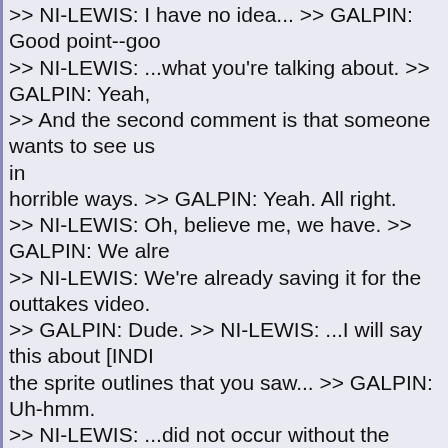>> NI-LEWIS: I have no idea... >> GALPIN: Good point--goo >> NI-LEWIS: ...what you're talking about. >> GALPIN: Yeah, >> And the second comment is that someone wants to see us in horrible ways. >> GALPIN: Yeah. All right. >> NI-LEWIS: Oh, believe me, we have. >> GALPIN: We alre >> NI-LEWIS: We're already saving it for the outtakes video. >> GALPIN: Dude. >> NI-LEWIS: ...I will say this about [INDI the sprite outlines that you saw... >> GALPIN: Uh-hmm. >> NI-LEWIS: ...did not occur without the HDMI connector plu something that we're actually starting to learn is it's really, really importan your game at really bizarre resolutions. >> GALPIN: Yeah. >> NI-LEWIS: Because sooner or later, no matter what resolu going to in the real world... >> GALPIN: Uh-hmm. >> NI-LEWIS: ...it's going to hit the streets of Shenzhen at ha else. >> GALPIN: Yeah. >> NI-LEWIS: And Samsung is going to snap up a bullet load >> GALPIN: Yeah. You know, it's--I mean, people are--I'm alw we're getting